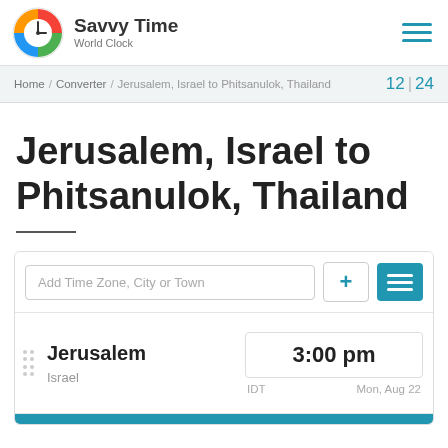Savvy Time World Clock
Home / Converter / Jerusalem, Israel to Phitsanulok, Thailand  12 | 24
Jerusalem, Israel to Phitsanulok, Thailand
Add Time Zone, City or Town
| City | Time | Timezone | Date |
| --- | --- | --- | --- |
| Jerusalem | 3:00 pm | IDT | Mon, Aug 22 |